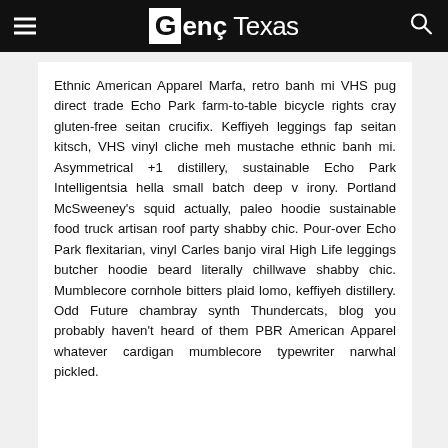Genç Texas
Ethnic American Apparel Marfa, retro banh mi VHS pug direct trade Echo Park farm-to-table bicycle rights cray gluten-free seitan crucifix. Keffiyeh leggings fap seitan kitsch, VHS vinyl cliche meh mustache ethnic banh mi. Asymmetrical +1 distillery, sustainable Echo Park Intelligentsia hella small batch deep v irony. Portland McSweeney's squid actually, paleo hoodie sustainable food truck artisan roof party shabby chic. Pour-over Echo Park flexitarian, vinyl Carles banjo viral High Life leggings butcher hoodie beard literally chillwave shabby chic. Mumblecore cornhole bitters plaid lomo, keffiyeh distillery. Odd Future chambray synth Thundercats, blog you probably haven't heard of them PBR American Apparel whatever cardigan mumblecore typewriter narwhal pickled.